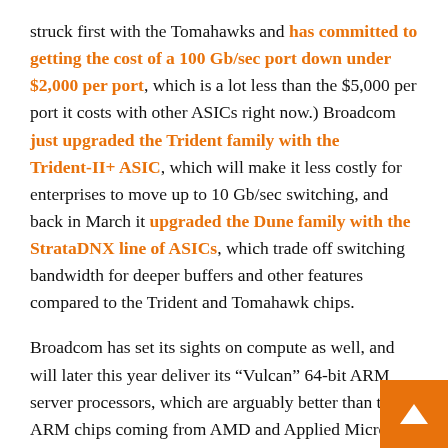struck first with the Tomahawks and has committed to getting the cost of a 100 Gb/sec port down under $2,000 per port, which is a lot less than the $5,000 per port it costs with other ASICs right now.) Broadcom just upgraded the Trident family with the Trident-II+ ASIC, which will make it less costly for enterprises to move up to 10 Gb/sec switching, and back in March it upgraded the Dune family with the StrataDNX line of ASICs, which trade off switching bandwidth for deeper buffers and other features compared to the Trident and Tomahawk chips.
Broadcom has set its sights on compute as well, and will later this year deliver its “Vulcan” 64-bit ARM server processors, which are arguably better than the ARM chips coming from AMD and Applied Micro and will compete well against the ThunderX processors from networking rival Cavium Networks. Qualcomm, the